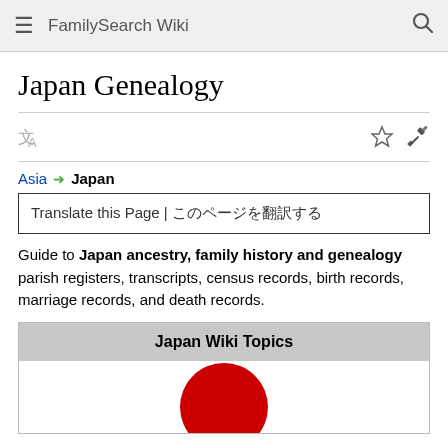FamilySearch Wiki
Japan Genealogy
Asia → Japan
Translate this Page | このページを翻訳する
Guide to Japan ancestry, family history and genealogy parish registers, transcripts, census records, birth records, marriage records, and death records.
Japan Wiki Topics